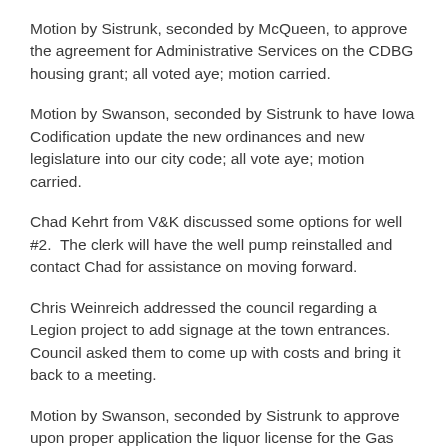Motion by Sistrunk, seconded by McQueen, to approve the agreement for Administrative Services on the CDBG housing grant; all voted aye; motion carried.
Motion by Swanson, seconded by Sistrunk to have Iowa Codification update the new ordinances and new legislature into our city code; all vote aye; motion carried.
Chad Kehrt from V&K discussed some options for well #2.  The clerk will have the well pump reinstalled and contact Chad for assistance on moving forward.
Chris Weinreich addressed the council regarding a Legion project to add signage at the town entrances. Council asked them to come up with costs and bring it back to a meeting.
Motion by Swanson, seconded by Sistrunk to approve upon proper application the liquor license for the Gas Lantern, all voted aye; motion carried.
Motion by Sistrunk, seconded by Bubke to appoint the clerk to be the representative on the Census complete count committee, all voted aye; motion carried.